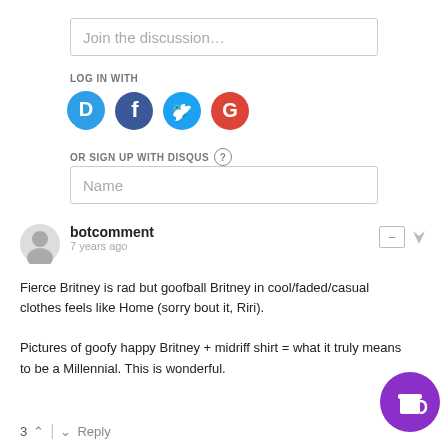Join the discussion...
LOG IN WITH
[Figure (infographic): Social login icons: Disqus (blue speech bubble with D), Facebook (dark blue circle with f), Twitter (blue circle with bird), Google (red circle with G)]
OR SIGN UP WITH DISQUS ?
Name
botcomment
7 years ago
Fierce Britney is rad but goofball Britney in cool/faded/casual clothes feels like Home (sorry bout it, Riri).

Pictures of goofy happy Britney + midriff shirt = what it truly means to be a Millennial. This is wonderful.
3  ∧  |  ∨  Reply